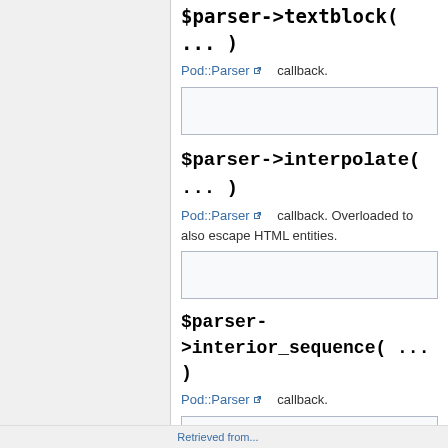$parser->textblock( ... )
Pod::Parser callback.
$parser->interpolate( ... )
Pod::Parser callback. Overloaded to also escape HTML entities.
$parser->interior_sequence( ... )
Pod::Parser callback.
Category:  API